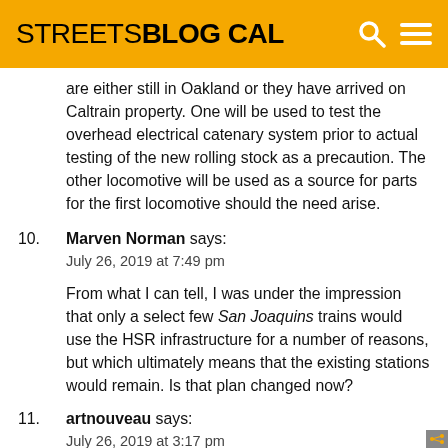STREETSBLOG CAL
are either still in Oakland or they have arrived on Caltrain property. One will be used to test the overhead electrical catenary system prior to actual testing of the new rolling stock as a precaution. The other locomotive will be used as a source for parts for the first locomotive should the need arise.
10. Marven Norman says:
July 26, 2019 at 7:49 pm

From what I can tell, I was under the impression that only a select few San Joaquins trains would use the HSR infrastructure for a number of reasons, but which ultimately means that the existing stations would remain. Is that plan changed now?
11. artnouveau says:
July 26, 2019 at 3:17 pm

There is the possibility of Amtrak “San Joaquin” trains moving over to the new high-speed rail